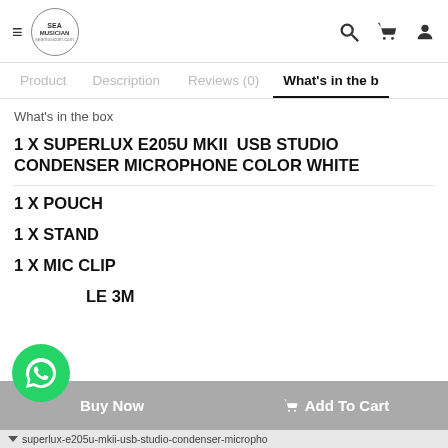SEA MUSICIAN seamusician.com
What's in the box
1 X SUPERLUX E205U MKII  USB STUDIO CONDENSER MICROPHONE COLOR WHITE
1 X POUCH
1 X STAND
1 X MIC CLIP
1 X CABLE 3M
Tags
superlux-e205u-mkii-usb-studio-condenser-micropho